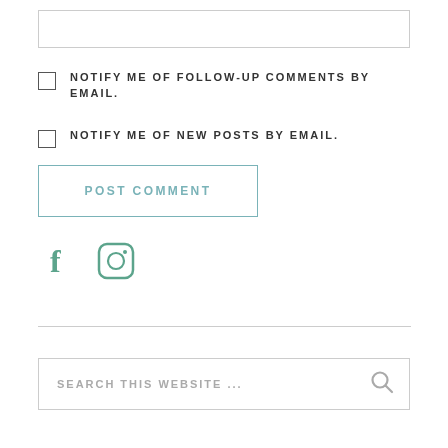[Figure (other): Text input box (comment field)]
NOTIFY ME OF FOLLOW-UP COMMENTS BY EMAIL.
NOTIFY ME OF NEW POSTS BY EMAIL.
POST COMMENT
[Figure (other): Social media icons: Facebook (f) and Instagram (circle with camera)]
[Figure (other): Search box with placeholder text SEARCH THIS WEBSITE ... and a search icon]